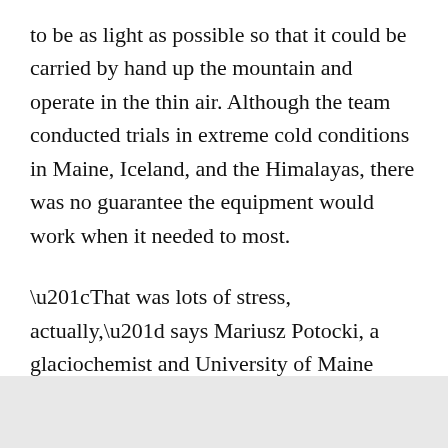to be as light as possible so that it could be carried by hand up the mountain and operate in the thin air. Although the team conducted trials in extreme cold conditions in Maine, Iceland, and the Himalayas, there was no guarantee the equipment would work when it needed to most.
“That was lots of stress, actually,” says Mariusz Potocki, a glaciochemist and University of Maine doctoral candidate who collected the core. “It was such a relief when it worked.”
ADVERTISEMENT